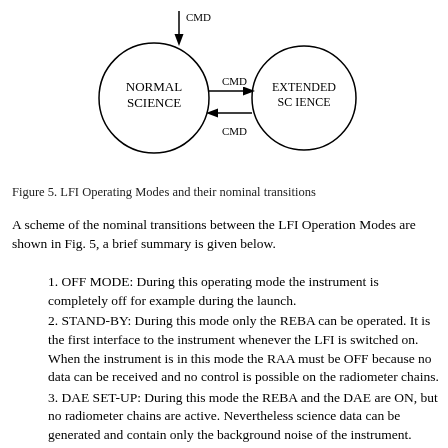[Figure (flowchart): State diagram showing LFI operating modes: NORMAL SCIENCE and EXTENDED SCIENCE circles connected by CMD arrows. An arrow from top points into NORMAL SCIENCE labeled CMD. An arrow from NORMAL SCIENCE to EXTENDED SCIENCE labeled CMD. An arrow from EXTENDED SCIENCE back to NORMAL SCIENCE labeled CMD.]
Figure 5. LFI Operating Modes and their nominal transitions
A scheme of the nominal transitions between the LFI Operation Modes are shown in Fig. 5, a brief summary is given below.
1. OFF MODE: During this operating mode the instrument is completely off for example during the launch.
2. STAND-BY: During this mode only the REBA can be operated. It is the first interface to the instrument whenever the LFI is switched on. When the instrument is in this mode the RAA must be OFF because no data can be received and no control is possible on the radiometer chains.
3. DAE SET-UP: During this mode the REBA and the DAE are ON, but no radiometer chains are active. Nevertheless science data can be generated and contain only the background noise of the instrument.
4. NORMAL SCIENCE: During this mode the RAA is seen by the REBA as a set of 44 independent instruments. This means that each instrument can be operated, by the same SW, in different modes without affecting the LFI modes. Science data